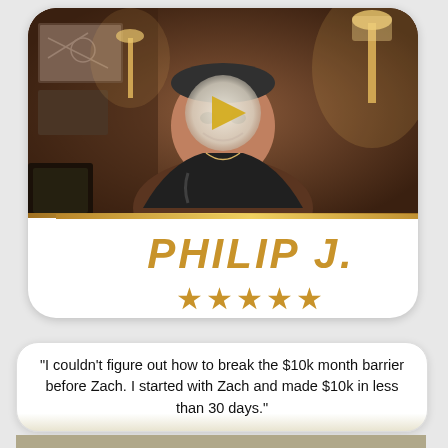[Figure (photo): Video thumbnail of a muscular man in a black tank top smiling at the camera, in a living room setting with lamps and wall art. A golden play button overlay is visible in the center.]
PHILIP J.
★★★★★
"I couldn't figure out how to break the $10k month barrier before Zach. I started with Zach and made $10k in less than 30 days."